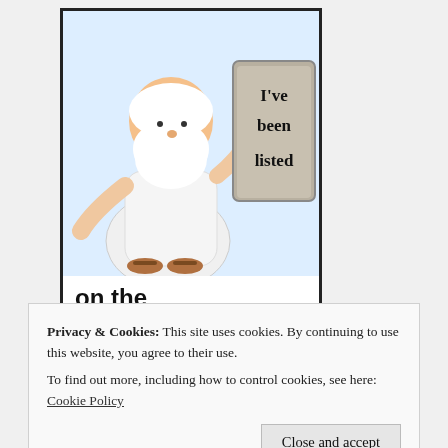[Figure (illustration): Book Blogger List badge: cartoon of a bearded man in a white robe holding a stone tablet that reads 'I've been listed', with text below reading 'on the Book Blogger List', all inside a black border box.]
WRITERS HELPING WRITERS
[Figure (illustration): Partial circular illustration/logo for Writers Helping Writers, showing top portion of a globe or book-related icon.]
Privacy & Cookies: This site uses cookies. By continuing to use this website, you agree to their use.
To find out more, including how to control cookies, see here: Cookie Policy
Close and accept